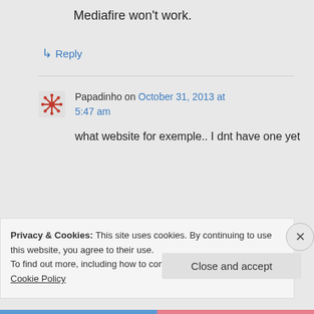Mediafire won't work.
↳ Reply
Papadinho on October 31, 2013 at 5:47 am
what website for exemple.. I dnt have one yet
Privacy & Cookies: This site uses cookies. By continuing to use this website, you agree to their use.
To find out more, including how to control cookies, see here: Cookie Policy
Close and accept